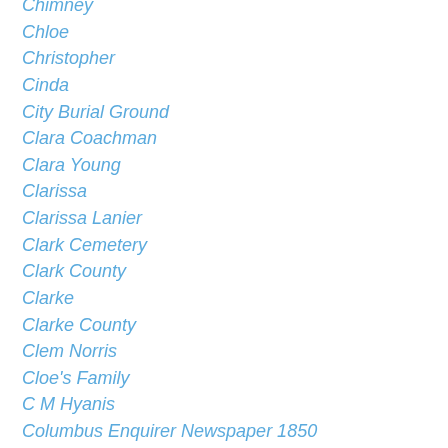Chimney
Chloe
Christopher
Cinda
City Burial Ground
Clara Coachman
Clara Young
Clarissa
Clarissa Lanier
Clark Cemetery
Clark County
Clarke
Clarke County
Clem Norris
Cloe's Family
C M Hyanis
Columbus Enquirer Newspaper 1850
Comes To The Light By Donya C Williams
Company A
Cornelius
Corrilas Brown